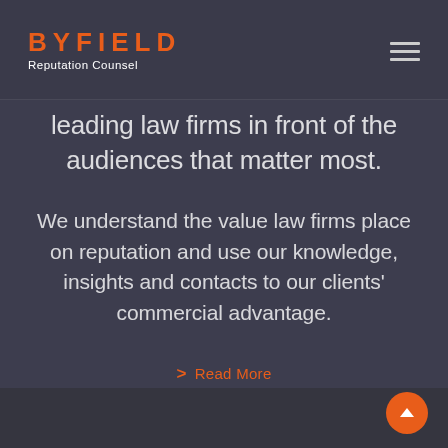BYFIELD Reputation Counsel
leading law firms in front of the audiences that matter most.
We understand the value law firms place on reputation and use our knowledge, insights and contacts to our clients' commercial advantage.
> Read More